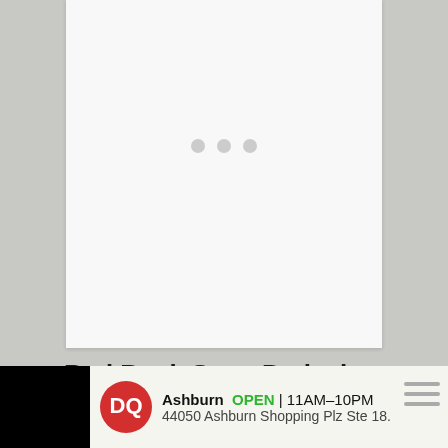[Figure (other): White card placeholder with three grey loading dots centered, representing an image or video loading state]
Red Rock State Park also offers various trails for horseback riding. The
[Figure (other): Advertisement bar at bottom: Dairy Queen ad showing Ashburn location OPEN 11AM-10PM at 44050 Ashburn Shopping Plz Ste 18, with play and close button controls and weather icon on right]